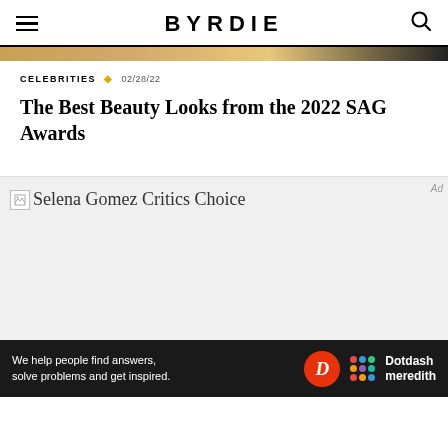BYRDIE
CELEBRITIES  02/28/22
The Best Beauty Looks from the 2022 SAG Awards
[Figure (photo): Broken image placeholder with alt text 'Selena Gomez Critics Choice' on a light grey background]
Ad
We help people find answers, solve problems and get inspired. Dotdash meredith